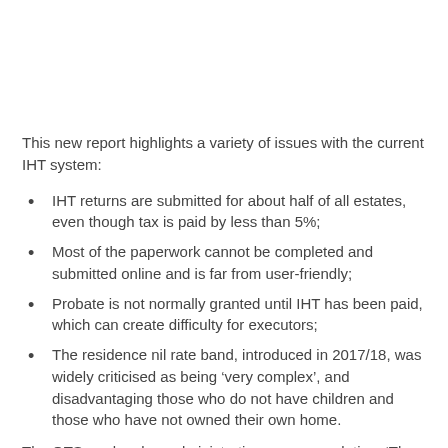This new report highlights a variety of issues with the current IHT system:
IHT returns are submitted for about half of all estates, even though tax is paid by less than 5%;
Most of the paperwork cannot be completed and submitted online and is far from user-friendly;
Probate is not normally granted until IHT has been paid, which can create difficulty for executors;
The residence nil rate band, introduced in 2017/18, was widely criticised as being ‘very complex’, and disadvantaging those who do not have children and those who have not owned their own home.
The OTS made a key administrative recommendation: ‘The